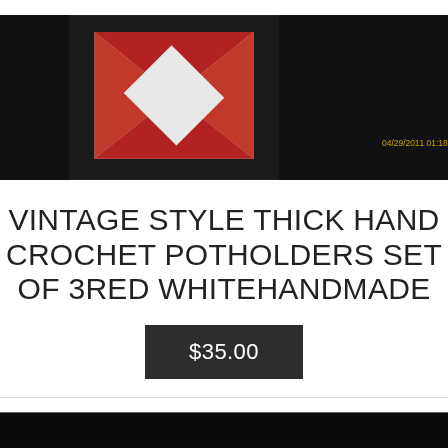[Figure (photo): Photo of red, white, and black crocheted potholders arranged on a dark background. Timestamp '04/29/2011 01:18' visible in yellow text.]
VINTAGE STYLE THICK HAND CROCHET POTHOLDERS SET OF 3RED WHITEHANDMADE
$35.00
[Figure (photo): Dark/black background photo showing small figurines or objects at the bottom edge, partially visible.]